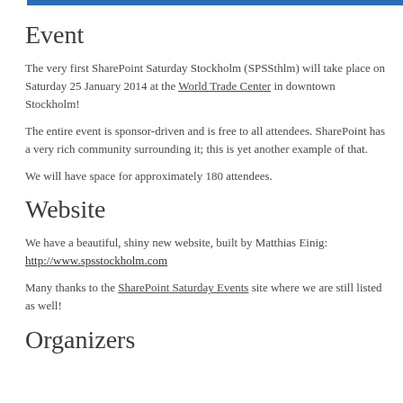Event
The very first SharePoint Saturday Stockholm (SPSSthlm) will take place on Saturday 25 January 2014 at the World Trade Center in downtown Stockholm!
The entire event is sponsor-driven and is free to all attendees. SharePoint has a very rich community surrounding it; this is yet another example of that.
We will have space for approximately 180 attendees.
Website
We have a beautiful, shiny new website, built by Matthias Einig: http://www.spsstockholm.com
Many thanks to the SharePoint Saturday Events site where we are still listed as well!
Organizers